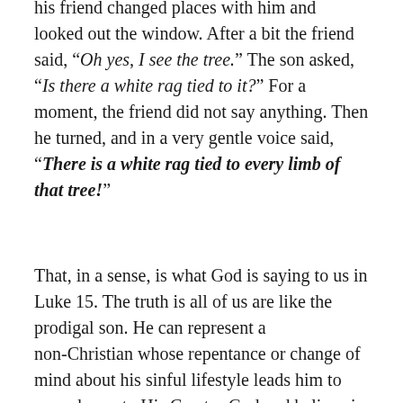his friend changed places with him and looked out the window. After a bit the friend said, "Oh yes, I see the tree." The son asked, "Is there a white rag tied to it?" For a moment, the friend did not say anything. Then he turned, and in a very gentle voice said, "There is a white rag tied to every limb of that tree!"
That, in a sense, is what God is saying to us in Luke 15. The truth is all of us are like the prodigal son. He can represent a non-Christian whose repentance or change of mind about his sinful lifestyle leads him to come home to His Creator God and believe in Jesus for complete forgiveness of sins, much like Cornelius in Acts 10. You may be seeking God by going to church